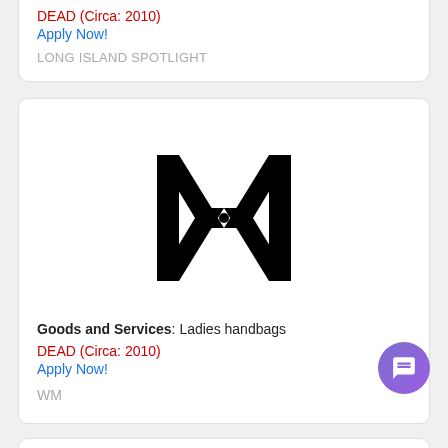DEAD (Circa: 2010)
Apply Now!
LONG ISLAND SPOTLIGHT
[Figure (logo): Stylized monogram logo with two mirrored M/X shapes forming a symmetrical decorative mark, in black]
Goods and Services: Ladies handbags
DEAD (Circa: 2010)
Apply Now!
WM
BRIDAL BY BUTTER